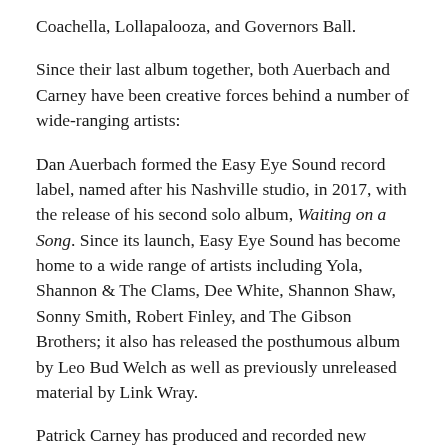Coachella, Lollapalooza, and Governors Ball.
Since their last album together, both Auerbach and Carney have been creative forces behind a number of wide-ranging artists:
Dan Auerbach formed the Easy Eye Sound record label, named after his Nashville studio, in 2017, with the release of his second solo album, Waiting on a Song. Since its launch, Easy Eye Sound has become home to a wide range of artists including Yola, Shannon & The Clams, Dee White, Shannon Shaw, Sonny Smith, Robert Finley, and The Gibson Brothers; it also has released the posthumous album by Leo Bud Welch as well as previously unreleased material by Link Wray.
Patrick Carney has produced and recorded new